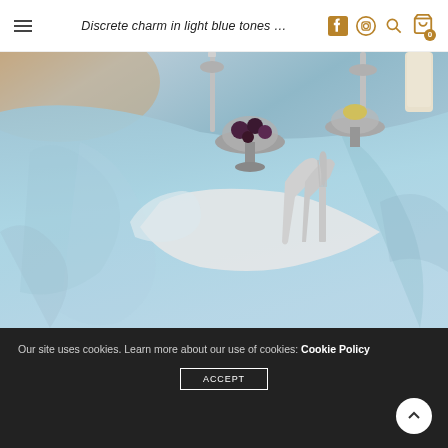≡  Discrete charm in light blue tones …  [Facebook] [Instagram] [Search] [Cart 0]
[Figure (photo): Close-up photo of an elegant table setting with a light blue linen tablecloth, silver candelabras and serving bowls with dark fruits, silver cutlery (spoon, knife, fork) wrapped in a white napkin, and a cream candle in background.]
Our site uses cookies. Learn more about our use of cookies: Cookie Policy
ACCEPT